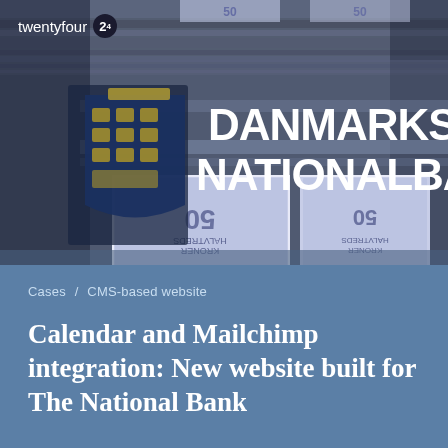[Figure (photo): Photo of Danmarks Nationalbank logo and signage with 50 krone banknotes being printed in background, on dark blue/grey metallic background. The logo shows a crowned coat of arms with three lions. Text reads DANMARKS NATIONALBANK in large white letters.]
twentyfour 24
Cases / CMS-based website
Calendar and Mailchimp integration: New website built for The National Bank